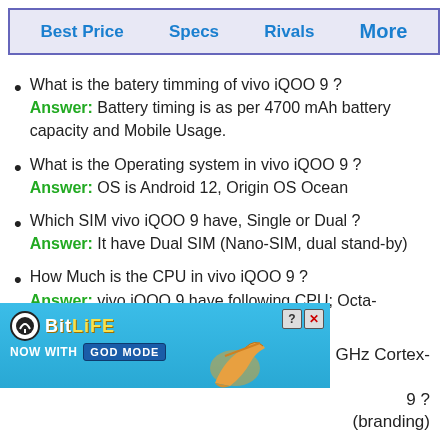Best Price | Specs | Rivals | More
What is the batery timming of vivo iQOO 9 ?
Answer: Battery timing is as per 4700 mAh battery capacity and Mobile Usage.
What is the Operating system in vivo iQOO 9 ?
Answer: OS is Android 12, Origin OS Ocean
Which SIM vivo iQOO 9 have, Single or Dual ?
Answer: It have Dual SIM (Nano-SIM, dual stand-by)
How Much is the CPU in vivo iQOO 9 ?
Answer: vivo iQOO 9 have following CPU; Octa- ...GHz Cortex-
[Figure (screenshot): BitLife advertisement banner with 'NOW WITH GOD MODE' text, hand pointing gesture, and close/info buttons]
9 ?
(branding)